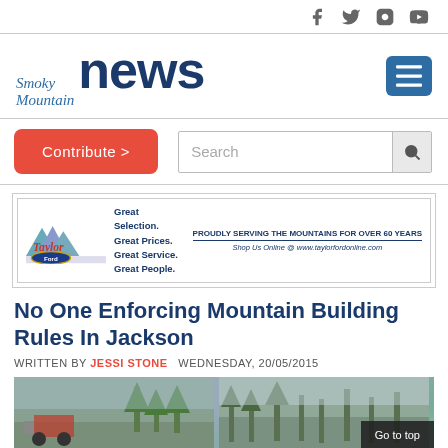Smoky Mountain News — social icons: Facebook, Twitter, Instagram, YouTube
[Figure (logo): Smoky Mountain News logo with blue text and hamburger menu button]
Contribute > [button]   Search [input]
[Figure (illustration): Taylor Ford advertisement: Great Selection. Great Prices. Great Service. Great People. Proudly Serving The Mountains For Over 60 Years. Shop Us Online @ www.taylorfordonline.com]
No One Enforcing Mountain Building Rules In Jackson
WRITTEN BY JESSI STONE   WEDNESDAY, 20/05/2015
[Figure (photo): Article photo showing construction/forestry scene with 'Go to top' overlay button]